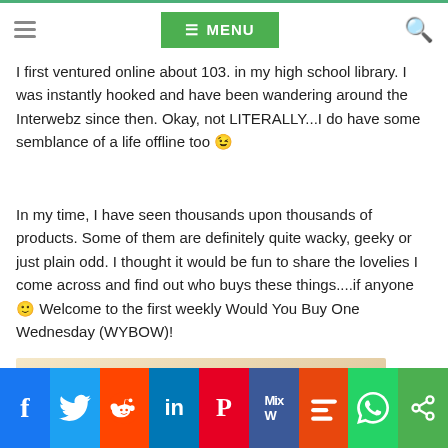≡ MENU
I first ventured online about 103. In my high school library. I was instantly hooked and have been wandering around the Interwebz since then. Okay, not LITERALLY...I do have some semblance of a life offline too 😉
In my time, I have seen thousands upon thousands of products. Some of them are definitely quite wacky, geeky or just plain odd. I thought it would be fun to share the lovelies I come across and find out who buys these things....if anyone 🙂 Welcome to the first weekly Would You Buy One Wednesday (WYBOW)!
[Figure (photo): Book cover: Crafting with Cat Hair - Cute Handicrafts to Make with Your Cat, showing a tabby cat from above on a light background]